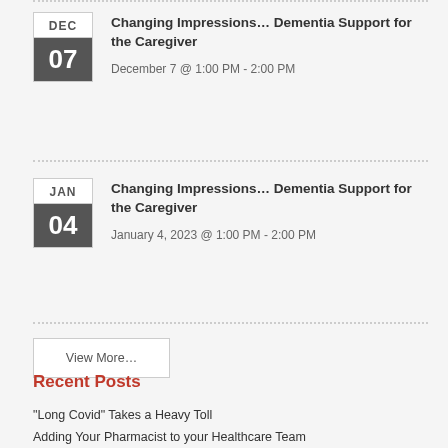Changing Impressions… Dementia Support for the Caregiver
December 7 @ 1:00 PM - 2:00 PM
Changing Impressions… Dementia Support for the Caregiver
January 4, 2023 @ 1:00 PM - 2:00 PM
View More…
Recent Posts
“Long Covid” Takes a Heavy Toll
Adding Your Pharmacist to your Healthcare Team